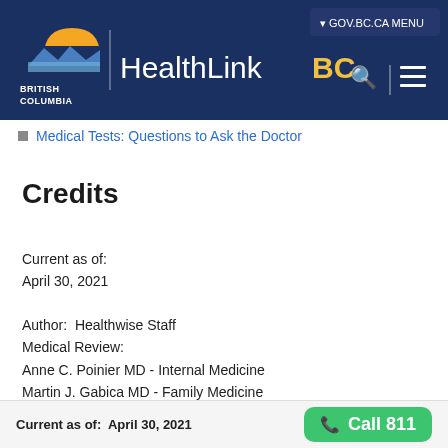[Figure (logo): HealthLinkBC website header with British Columbia government logo, HealthLinkBC text, GOV.BC.CA MENU button, search and hamburger menu icons on dark navy background]
Medical Tests: Questions to Ask the Doctor
Credits
Current as of:
April 30, 2021

Author:  Healthwise Staff
Medical Review:
Anne C. Poinier MD - Internal Medicine
Martin J. Gabica MD - Family Medicine
E. Gregory Thompson MD - Internal Medicine
Kathleen Romito MD - Family Medicine
Adam Husney MD - Family Medicine
Current as of:  April 30, 2021   Call 811